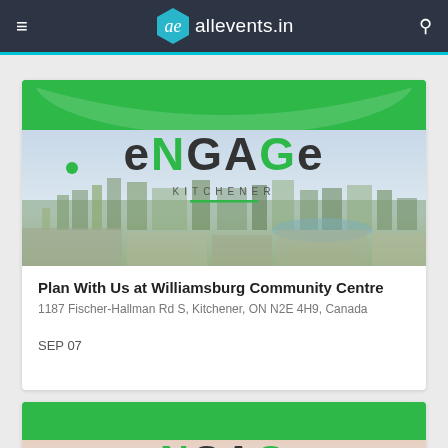allevents.in
[Figure (screenshot): Engage Kitchener event banner with city skyline panorama]
Plan With Us at Williamsburg Community Centre
1187 Fischer-Hallman Rd S, Kitchener, ON N2E 4H9, Canada
SEP 07
[Figure (screenshot): Engage Kitchener event banner (partial, second card)]